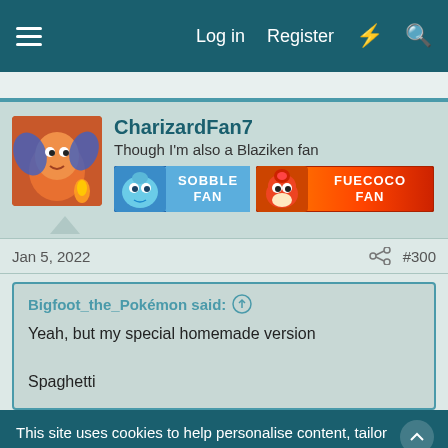Log in  Register
CharizardFan7
Though I'm also a Blaziken fan
[Figure (illustration): Two pixel-art fan badges: 'SOBBLE FAN' with Sobble sprite and 'FUECOCO FAN' with Fuecoco sprite]
Jan 5, 2022   #300
Bigfoot_the_Pokémon said:
Yeah, but my special homemade version

Spaghetti
This site uses cookies to help personalise content, tailor your experience and to keep you logged in if you register.
By continuing to use this site, you are consenting to our use of cookies.